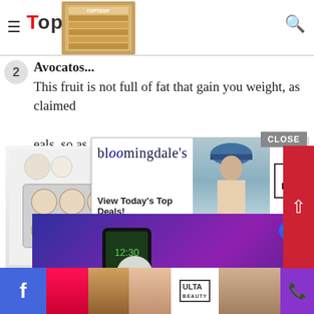TopTeny — navigation bar with hamburger menu and search icon
2. Avocatos...
This fruit is not full of fat that gain you weight, as claimed ... deals, so as m... owly digested fat that let you full fo... add them to salad, or omelets...
[Figure (screenshot): Bloomingdales advertisement: 'View Today's Top Deals!' with model in hat and SHOP NOW > button]
[Figure (screenshot): Video overlay showing a person holding a phone, text FINALLY!, badge 'ai', and caption '37 GENIUS AMAZON PRODUCTS THAT CAN BE USED BY ANYONE']
[Figure (screenshot): Bottom advertisement strip with baking/cosmetics thumbnails and Ulta beauty ad with SHOP NOW button, Facebook icon, phone icon]
[Figure (screenshot): Close button overlay and scroll-up red button]